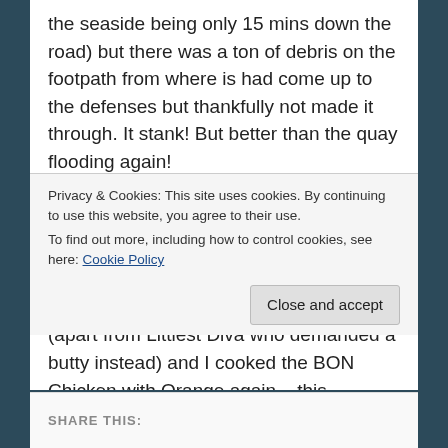the seaside being only 15 mins down the road) but there was a ton of debris on the footpath from where is had come up to the defenses but thankfully not made it through. It stank! But better than the quay flooding again!
By the time we got home we'd been out and walking for 3 hours! I hit my 10,000 step target for the first time in ages!
Hubby made us omelettes for lunch (apart from Littlest Diva who demanded a butty instead) and I cooked the BON Chicken with Orange again – this
Privacy & Cookies: This site uses cookies. By continuing to use this website, you agree to their use.
To find out more, including how to control cookies, see here: Cookie Policy
Close and accept
SHARE THIS: